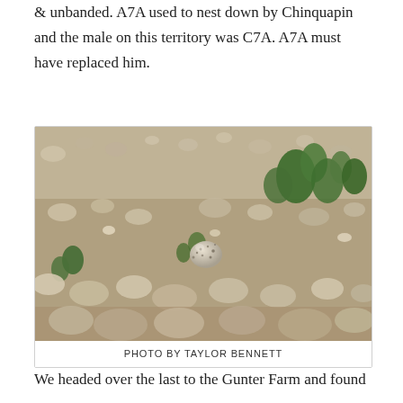unbanded were guarding a one egg nest and so was A7A & unbanded. A7A used to nest down by Chinquapin and the male on this territory was C7A. A7A must have replaced him.
[Figure (photo): A speckled shorebird egg resting among pebbles and small green plants on a gravel beach or rocky shore. The egg is camouflaged among the stones.]
PHOTO BY TAYLOR BENNETT
We headed over the last to the Gunter Farm and found